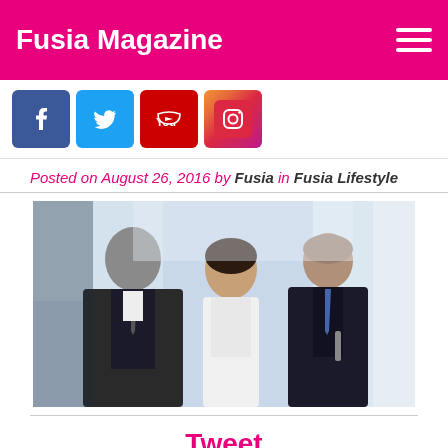Fusia Magazine
[Figure (logo): Social media icons: Facebook, Twitter, YouTube, Instagram]
Posted on August 26, 2016 by Fusia in Fusia Lifestyle
[Figure (photo): Three business professionals in an office setting having a conversation]
Tweet
When somebody criticizes you or your work, how do you manage to